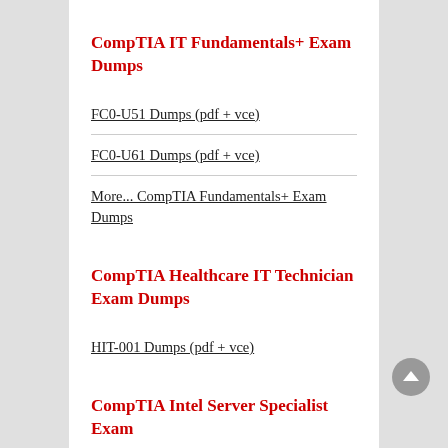CompTIA IT Fundamentals+ Exam Dumps
FC0-U51 Dumps (pdf + vce)
FC0-U61 Dumps (pdf + vce)
More... CompTIA Fundamentals+ Exam Dumps
CompTIA Healthcare IT Technician Exam Dumps
HIT-001 Dumps (pdf + vce)
CompTIA Intel Server Specialist Exam